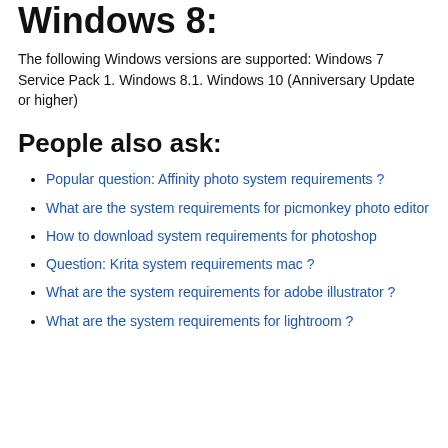Windows 8:
The following Windows versions are supported: Windows 7 Service Pack 1. Windows 8.1. Windows 10 (Anniversary Update or higher)
People also ask:
Popular question: Affinity photo system requirements ?
What are the system requirements for picmonkey photo editor
How to download system requirements for photoshop
Question: Krita system requirements mac ?
What are the system requirements for adobe illustrator ?
What are the system requirements for lightroom ?